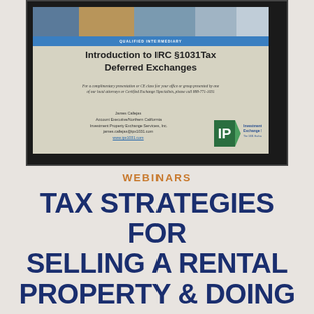[Figure (screenshot): Screenshot of a presentation slide titled 'Introduction to IRC §1031Tax Deferred Exchanges' by James Callejas, Account Executive/Northern California, Investment Property Exchange Services, Inc. Contact: james.callejas@ipx1031.com, www.ipx1031.com. Includes IPX logo and blue 'Qualified Intermediary' bar.]
WEBINARS
TAX STRATEGIES FOR SELLING A RENTAL PROPERTY & DOING A 1031 TAX DEFERRED